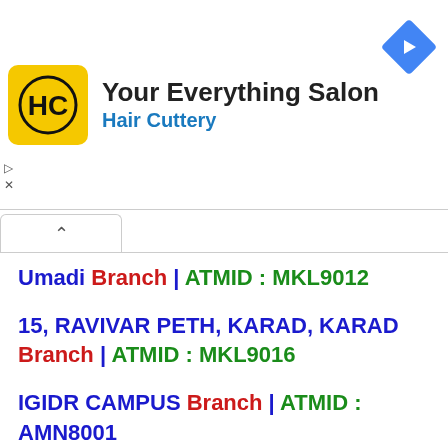[Figure (logo): Hair Cuttery ad banner with yellow HC logo, text 'Your Everything Salon' and 'Hair Cuttery', and a blue navigation arrow icon]
Umadi Branch | ATMID : MKL9012
15, RAVIVAR PETH, KARAD, KARAD Branch | ATMID : MKL9016
IGIDR CAMPUS Branch | ATMID : AMN8001
CHARKOP Branch | ATMID : AMN8007
KANDIVALI Branch | ATMID : AMN800...